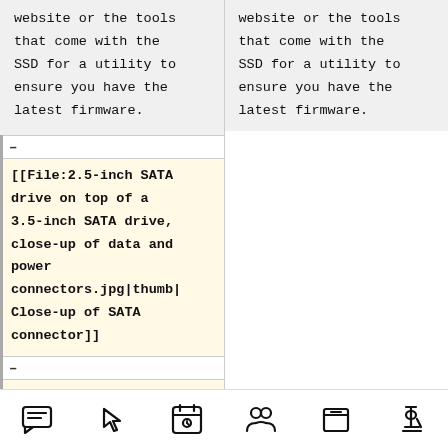website or the tools that come with the SSD for a utility to ensure you have the latest firmware.
website or the tools that come with the SSD for a utility to ensure you have the latest firmware.
[[File:2.5-inch SATA drive on top of a 3.5-inch SATA drive, close-up of data and power connectors.jpg|thumb|Close-up of SATA connector]]
[[File:MSATA SSD vs.